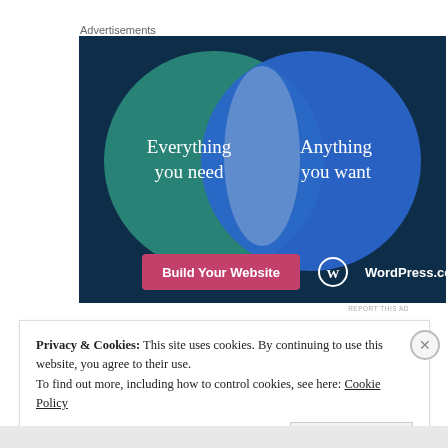Advertisements
[Figure (illustration): WordPress.com advertisement showing a Venn diagram with two overlapping circles on a dark blue/teal background. Left circle (teal/green) contains text 'Everything you need', right circle (blue) contains 'Anything you want'. The overlapping area is lighter blue. Bottom left has a pink/magenta button 'Build Your Website' and bottom right shows 'WordPress.com' logo with the WordPress circular logo mark.]
REPORT THIS AD
Privacy & Cookies: This site uses cookies. By continuing to use this website, you agree to their use.
To find out more, including how to control cookies, see here: Cookie Policy
Close and accept